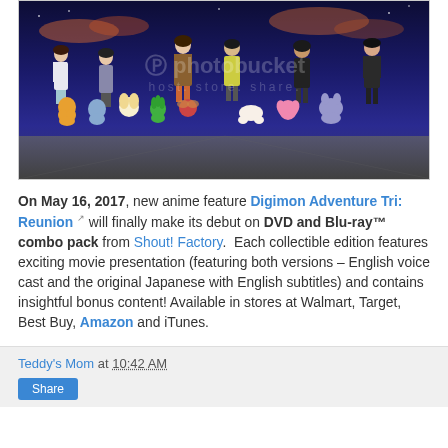[Figure (screenshot): Digimon Adventure Tri anime screenshot showing human characters and their Digimon partners standing together against a twilight sky background, with a Photobucket watermark overlay reading 'host. store. share.']
On May 16, 2017, new anime feature Digimon Adventure Tri: Reunion will finally make its debut on DVD and Blu-ray™ combo pack from Shout! Factory. Each collectible edition features exciting movie presentation (featuring both versions – English voice cast and the original Japanese with English subtitles) and contains insightful bonus content! Available in stores at Walmart, Target, Best Buy, Amazon and iTunes.
Teddy's Mom at 10:42 AM